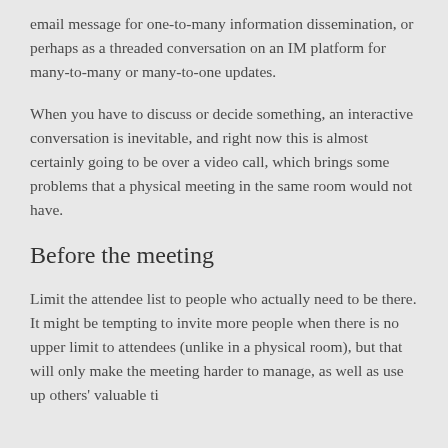email message for one-to-many information dissemination, or perhaps as a threaded conversation on an IM platform for many-to-many or many-to-one updates.
When you have to discuss or decide something, an interactive conversation is inevitable, and right now this is almost certainly going to be over a video call, which brings some problems that a physical meeting in the same room would not have.
Before the meeting
Limit the attendee list to people who actually need to be there. It might be tempting to invite more people when there is no upper limit to attendees (unlike in a physical room), but that will only make the meeting harder to manage, as well as use up others' valuable ti...